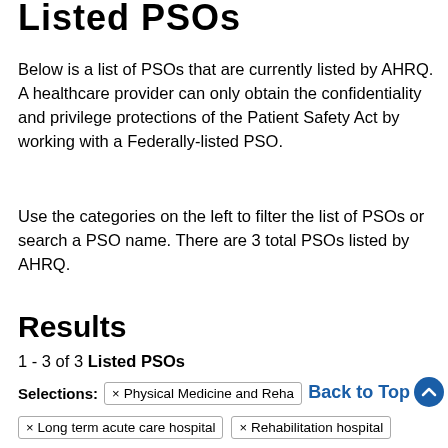Listed PSOs
Below is a list of PSOs that are currently listed by AHRQ. A healthcare provider can only obtain the confidentiality and privilege protections of the Patient Safety Act by working with a Federally-listed PSO.
Use the categories on the left to filter the list of PSOs or search a PSO name. There are 3 total PSOs listed by AHRQ.
Results
1 - 3 of 3 Listed PSOs
Selections: × Physical Medicine and Reha × Long term acute care hospital × Rehabilitation hospital